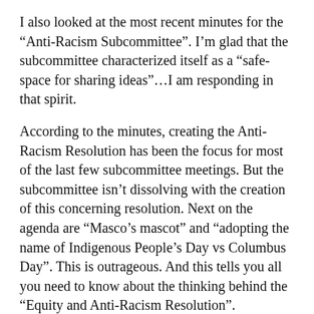I also looked at the most recent minutes for the “Anti-Racism Subcommittee”. I’m glad that the subcommittee characterized itself as a “safe-space for sharing ideas”…I am responding in that spirit.
According to the minutes, creating the Anti-Racism Resolution has been the focus for most of the last few subcommittee meetings. But the subcommittee isn’t dissolving with the creation of this concerning resolution. Next on the agenda are “Masco’s mascot” and “adopting the name of Indigenous People’s Day vs Columbus Day”. This is outrageous. And this tells you all you need to know about the thinking behind the “Equity and Anti-Racism Resolution”.
It’s clear to me that there’s a poison that has infected the Masco School Committee and Masco administration. It comes from a wider political